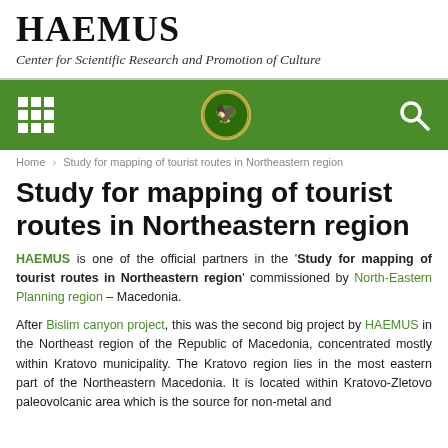HAEMUS
Center for Scientific Research and Promotion of Culture
[Figure (other): Green navigation bar with grid icon, HAEMUS logo (griffin in circle), and search icon]
Home › Study for mapping of tourist routes in Northeastern region
Study for mapping of tourist routes in Northeastern region
HAEMUS is one of the official partners in the 'Study for mapping of tourist routes in Northeastern region' commissioned by North-Eastern Planning region – Macedonia.
After Bislim canyon project, this was the second big project by HAEMUS in the Northeast region of the Republic of Macedonia, concentrated mostly within Kratovo municipality. The Kratovo region lies in the most eastern part of the Northeastern Macedonia. It is located within Kratovo-Zletovo paleovolcanic area which is the source for non-metal and